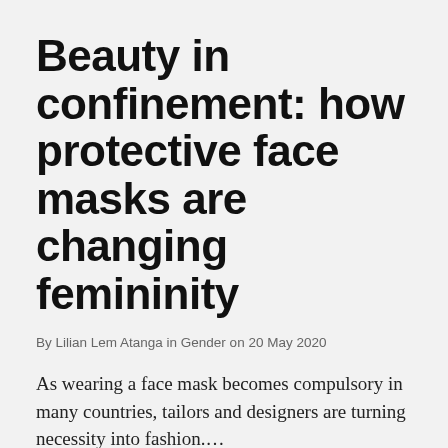Beauty in confinement: how protective face masks are changing femininity
By Lilian Lem Atanga in Gender on 20 May 2020
As wearing a face mask becomes compulsory in many countries, tailors and designers are turning necessity into fashion....